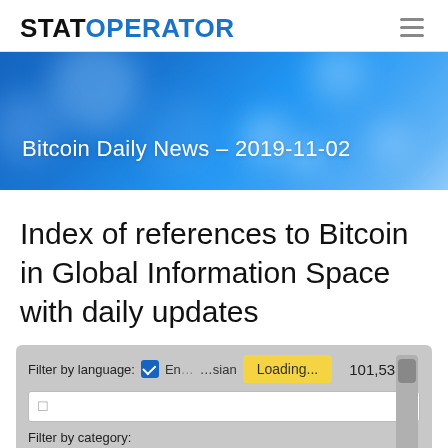STATOPERATOR
[Figure (screenshot): Blue bokeh/bokeh-style banner background with text: Bitcoin Daily News – 2019-11-02]
Index of references to Bitcoin in Global Information Space with daily updates
Filter by language: [checkbox] En... ...sian   101,533.0
[search box]
Filter by category:
[checkbox] All categories   Loading...